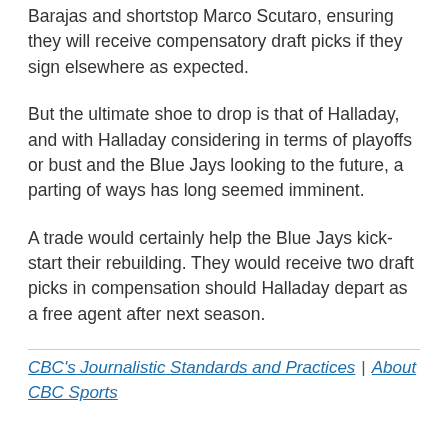Barajas and shortstop Marco Scutaro, ensuring they will receive compensatory draft picks if they sign elsewhere as expected.
But the ultimate shoe to drop is that of Halladay, and with Halladay considering in terms of playoffs or bust and the Blue Jays looking to the future, a parting of ways has long seemed imminent.
A trade would certainly help the Blue Jays kick-start their rebuilding. They would receive two draft picks in compensation should Halladay depart as a free agent after next season.
CBC's Journalistic Standards and Practices | About CBC Sports